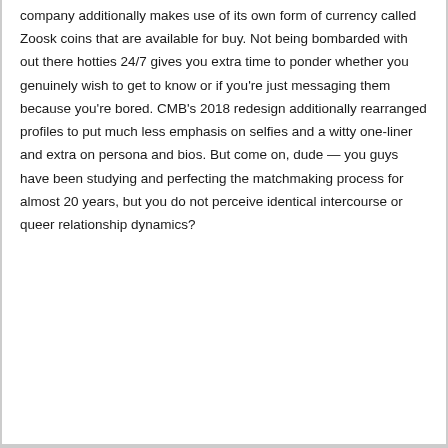company additionally makes use of its own form of currency called Zoosk coins that are available for buy. Not being bombarded with out there hotties 24/7 gives you extra time to ponder whether you genuinely wish to get to know or if you're just messaging them because you're bored. CMB's 2018 redesign additionally rearranged profiles to put much less emphasis on selfies and a witty one-liner and extra on persona and bios. But come on, dude — you guys have been studying and perfecting the matchmaking process for almost 20 years, but you do not perceive identical intercourse or queer relationship dynamics?